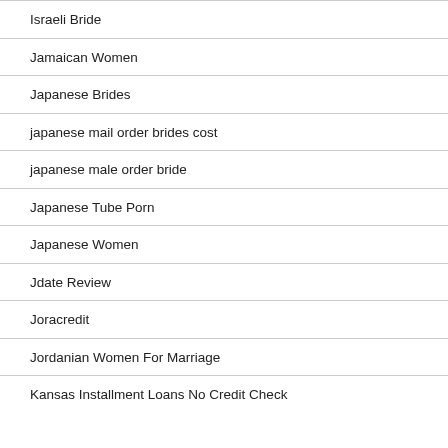Israeli Bride
Jamaican Women
Japanese Brides
japanese mail order brides cost
japanese male order bride
Japanese Tube Porn
Japanese Women
Jdate Review
Joracredit
Jordanian Women For Marriage
Kansas Installment Loans No Credit Check